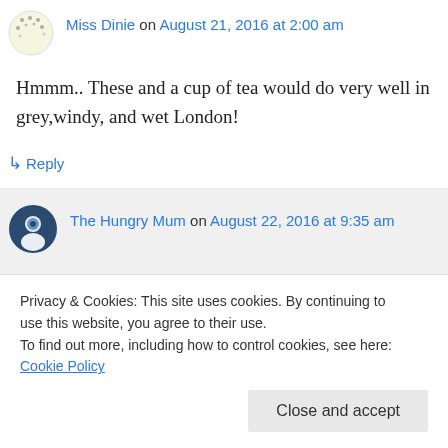Miss Dinie on August 21, 2016 at 2:00 am
Hmmm.. These and a cup of tea would do very well in grey,windy, and wet London!
↳ Reply
The Hungry Mum on August 22, 2016 at 9:35 am
Oh yes, they would be perfect with a
Privacy & Cookies: This site uses cookies. By continuing to use this website, you agree to their use.
To find out more, including how to control cookies, see here: Cookie Policy
Close and accept